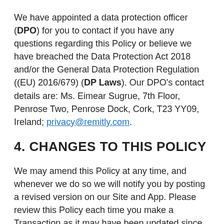We have appointed a data protection officer (DPO) for you to contact if you have any questions regarding this Policy or believe we have breached the Data Protection Act 2018 and/or the General Data Protection Regulation ((EU) 2016/679) (DP Laws). Our DPO's contact details are: Ms. Eimear Sugrue, 7th Floor, Penrose Two, Penrose Dock, Cork, T23 YY09, Ireland; privacy@remitly.com.
4. CHANGES TO THIS POLICY
We may amend this Policy at any time, and whenever we do so we will notify you by posting a revised version on our Site and App. Please review this Policy each time you make a Transaction as it may have been updated since you initially registered for our Services, or since your last Transaction.
If you do not agree with any of this Policy, or any change, you can end your Agreement with us and close your Profile